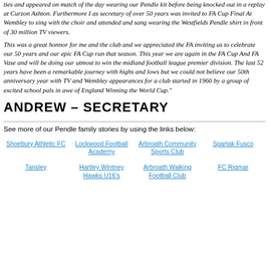ties and appeared on match of the day wearing our Pendle kit before being knocked out in a replay at Curzon Ashton. Furthermore I as secretary of over 50 years was invited to FA Cup Final At Wembley to sing with the choir and attended and sang wearing the Westfields Pendle shirt in front of 30 million TV viewers.
This was a great honnor for me and the club and we appreciated the FA inviting us to celebrate our 50 years and our epic FA Cup run that season. This year we are again in the FA Cup And FA Vase and will be doing our utmost to win the midland football league premier division. The last 52 years have been a remarkable journey with highs and lows but we could not believe our 50th anniversary year with TV and Wembley appearances for a club started in 1966 by a group of excited school pals in awe of England Winning the World Cup."
ANDREW – SECRETARY
See more of our Pendle family stories by using the links below:
Shoebury Athletic FC
Lockwood Football Academy
Arbroath Community Sports Club
Spartak Fusco
Tansley
Hartley Wintney Hawks U16's
Arbroath Walking Football Club
FC Rigmar